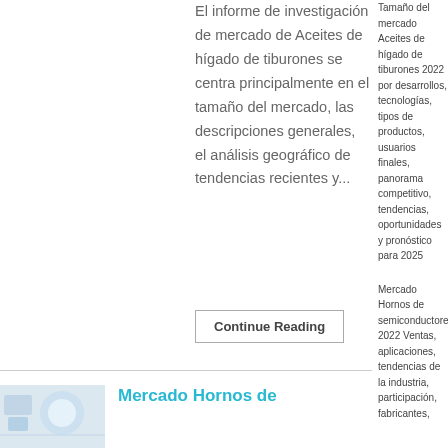El informe de investigación de mercado de Aceites de hígado de tiburones se centra principalmente en el tamaño del mercado, las descripciones generales, el análisis geográfico de tendencias recientes y...
Continue Reading
Tamaño del mercado Aceites de hígado de tiburones 2022 por desarrollos, tecnologías, tipos de productos, usuarios finales, panorama competitivo, tendencias, oportunidades y pronóstico para 2025
Mercado Hornos de semiconductores 2022 Ventas, aplicaciones, tendencias de la industria, participación, fabricantes,
[Figure (photo): Small thumbnail image showing a light blue/white circular graphic on a light background, related to market research]
Mercado Hornos de